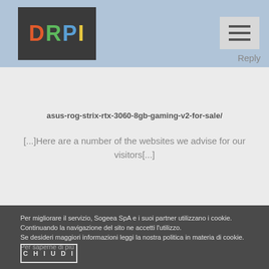DRPI
asus-rog-strix-rtx-3060-8gb-gaming-v2-for-sale/
[...]Here are a number of the websites we advise for our visitors[...]
Per migliorare il servizio, Sogeea SpA e i suoi partner utilizzano i cookie. Continuando la navigazione del sito ne accetti l'utilizzo.
Se desideri maggiori informazioni leggi la nostra politica in materia di cookie. Per saperne di più
CHIUDI